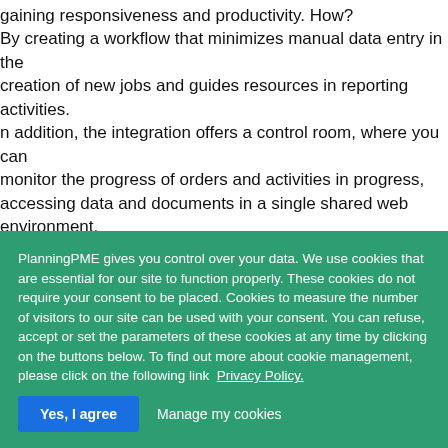gaining responsiveness and productivity. How? By creating a workflow that minimizes manual data entry in the creation of new jobs and guides resources in reporting activities. In addition, the integration offers a control room, where you can monitor the progress of orders and activities in progress, accessing data and documents in a single shared web environment.
[Figure (other): Broken image placeholder showing 'workflow Arxivar' text with a document icon]
PlanningPME gives you control over your data. We use cookies that are essential for our site to function properly. These cookies do not require your consent to be placed. Cookies to measure the number of visitors to our site can be used with your consent. You can refuse, accept or set the parameters of these cookies at any time by clicking on the buttons below. To find out more about cookie management, please click on the following link  Privacy Policy.
Yes, I agree
Manage my cookies